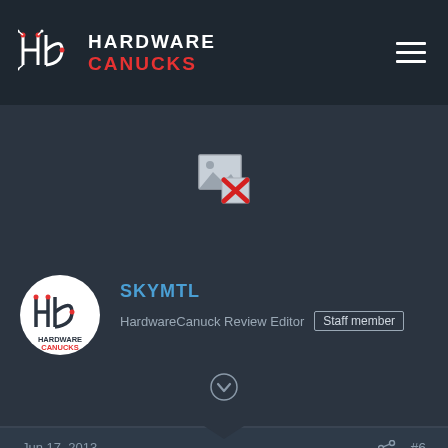HARDWARE CANUCKS
[Figure (illustration): Broken image placeholder icon with red X]
SKYMTL
HardwareCanuck Review Editor  Staff member
Jun 17, 2013  #6
Tomb Raider
Tomb Raider (DX11)